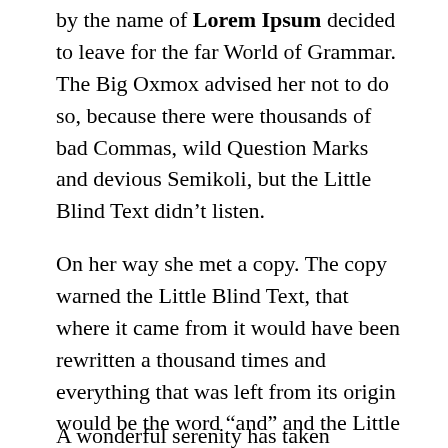by the name of Lorem Ipsum decided to leave for the far World of Grammar. The Big Oxmox advised her not to do so, because there were thousands of bad Commas, wild Question Marks and devious Semikoli, but the Little Blind Text didn’t listen.
On her way she met a copy. The copy warned the Little Blind Text, that where it came from it would have been rewritten a thousand times and everything that was left from its origin would be the word “and” and the Little Blind Text should turn around and return to its own, safe country.
A wonderful serenity has taken possession of